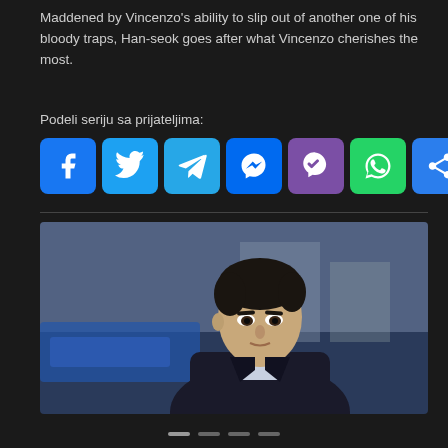Maddened by Vincenzo's ability to slip out of another one of his bloody traps, Han-seok goes after what Vincenzo cherishes the most.
Podeli seriju sa prijateljima:
[Figure (other): Row of social media share buttons: Facebook, Twitter, Telegram, Messenger, Viber, WhatsApp, and a generic share button]
[Figure (photo): Portrait photo of a young East Asian man in a dark suit with a serious expression, urban background with blurred blue signage]
[Figure (other): Slideshow navigation dots: four horizontal dashes, one slightly lighter indicating active slide]